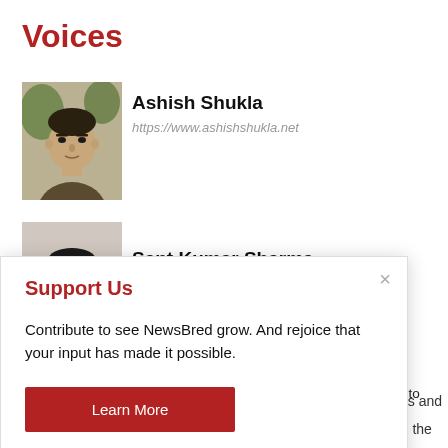Voices
[Figure (photo): Headshot photo of Ashish Shukla, a man in a dark sweater]
Ashish Shukla
https://www.ashishshukla.net
[Figure (photo): Headshot photo of Sant Kumar Sharma, a man with a mustache]
Sant Kumar Sharma
Support Us
Contribute to see NewsBred grow. And rejoice that your input has made it possible.
Learn More
use of ALL the cookies. However, you may visit "Cookie Settings" to provide a controlled consent.
Cookie Settings
Accept All